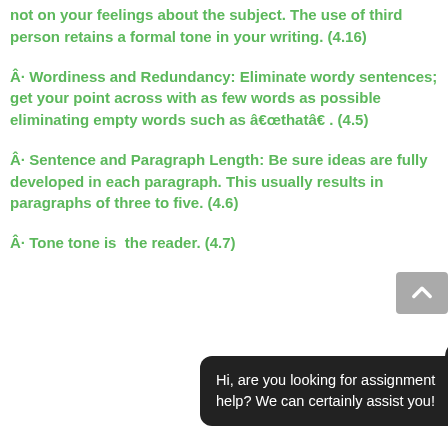not on your feelings about the subject. The use of third person retains a formal tone in your writing. (4.16)
Â· Wordiness and Redundancy: Eliminate wordy sentences; get your point across with as few words as possible eliminating empty words such as â€œthatâ€ . (4.5)
Â· Sentence and Paragraph Length: Be sure ideas are fully developed in each paragraph. This usually results in paragraphs of three to five. (4.6)
Â· Tone: ... tone is ... the reader. (4.7)
Hi, are you looking for assignment help? We can certainly assist you!